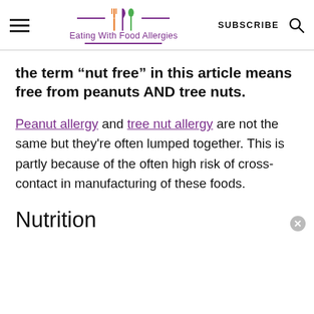Eating With Food Allergies | SUBSCRIBE
the term “nut free” in this article means free from peanuts AND tree nuts.
Peanut allergy and tree nut allergy are not the same but they're often lumped together. This is partly because of the often high risk of cross-contact in manufacturing of these foods.
Nutrition